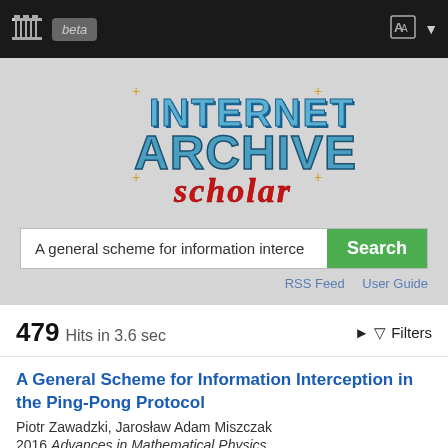Internet Archive Scholar (beta) - navigation bar
[Figure (logo): Internet Archive Scholar logo with blue metallic 'INTERNET ARCHIVE' text and red cursive 'SCHOLAR' text on a light gray background with sparkle decorations]
A general scheme for information interce [Search]
RSS Feed   User Guide
479 Hits in 3.6 sec   ▶ 🔽 Filters
A General Scheme for Information Interception in the Ping-Pong Protocol
Piotr Zawadzki, Jarosław Adam Miszczak
2016 Advances in Mathematical Physics
The existence of undetectable eavesdropping of dense coded information has been already demonstrated by Pavičić for the